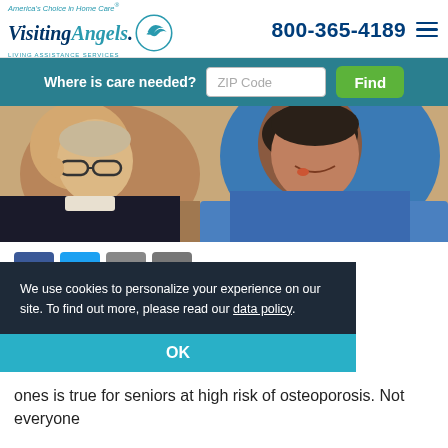America's Choice in Home Care - Visiting Angels - LIVING ASSISTANCE SERVICES | 800-365-4189
Where is care needed? ZIP Code Find
[Figure (photo): Elderly man with glasses and a smiling female caregiver in blue scrubs looking down together]
[Figure (infographic): Social share buttons: Facebook, Twitter, Email, Print]
me Care
We use cookies to personalize your experience on our site. To find out more, please read our data policy.
OK
ones is true for seniors at high risk of osteoporosis. Not everyone